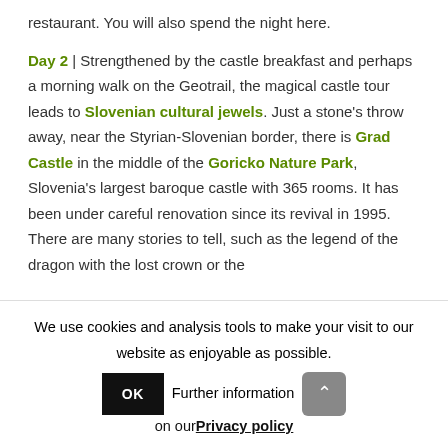restaurant. You will also spend the night here.
Day 2 | Strengthened by the castle breakfast and perhaps a morning walk on the Geotrail, the magical castle tour leads to Slovenian cultural jewels. Just a stone's throw away, near the Styrian-Slovenian border, there is Grad Castle in the middle of the Goricko Nature Park, Slovenia's largest baroque castle with 365 rooms. It has been under careful renovation since its revival in 1995. There are many stories to tell, such as the legend of the dragon with the lost crown or the
We use cookies and analysis tools to make your visit to our website as enjoyable as possible. [OK] Further information on our Privacy policy